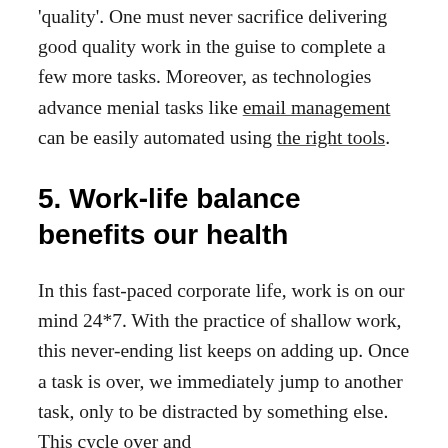every day, it is easy to confuse 'quantity' with 'quality'. One must never sacrifice delivering good quality work in the guise to complete a few more tasks. Moreover, as technologies advance menial tasks like email management can be easily automated using the right tools.
5. Work-life balance benefits our health
In this fast-paced corporate life, work is on our mind 24*7. With the practice of shallow work, this never-ending list keeps on adding up. Once a task is over, we immediately jump to another task, only to be distracted by something else. This cycle over and